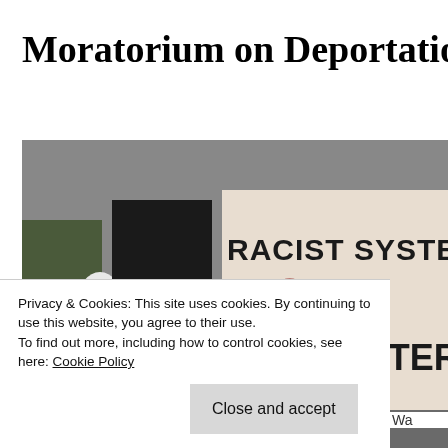Moratorium on Deportations
[Figure (photo): Protesters holding a large banner reading 'RACIST SYSTEMS CA... NO more ALTO AL TERRO...' on a street. People in winter clothing visible on the left.]
Privacy & Cookies: This site uses cookies. By continuing to use this website, you agree to their use.
To find out more, including how to control cookies, see here: Cookie Policy
Close and accept